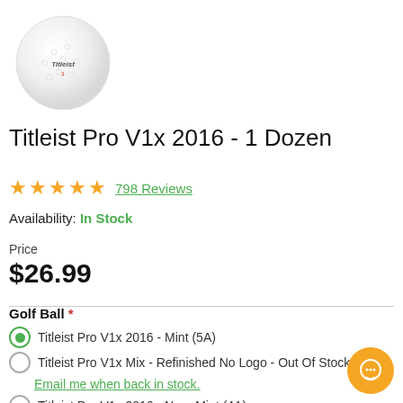[Figure (photo): Titleist Pro V1x golf ball product photo, white ball with Titleist branding]
Titleist Pro V1x 2016 - 1 Dozen
★★★★★ 798 Reviews
Availability: In Stock
Price $26.99
Golf Ball *
Titleist Pro V1x 2016 - Mint (5A) [selected]
Titleist Pro V1x Mix - Refinished No Logo - Out Of Stock
Email me when back in stock.
Titleist Pro V1x 2016 - Near Mint (4A)
Titleist Pro V1x 2016 - Good (3A) - Out Of Stock